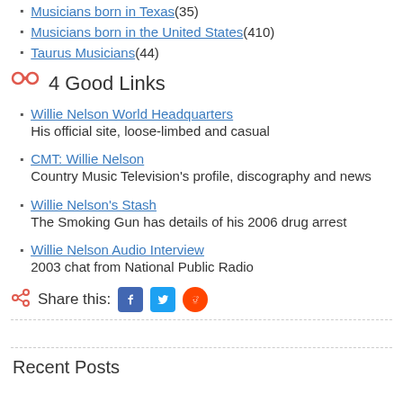Musicians born in Texas (35)
Musicians born in the United States (410)
Taurus Musicians (44)
4 Good Links
Willie Nelson World Headquarters
His official site, loose-limbed and casual
CMT: Willie Nelson
Country Music Television's profile, discography and news
Willie Nelson's Stash
The Smoking Gun has details of his 2006 drug arrest
Willie Nelson Audio Interview
2003 chat from National Public Radio
Share this:
Recent Posts